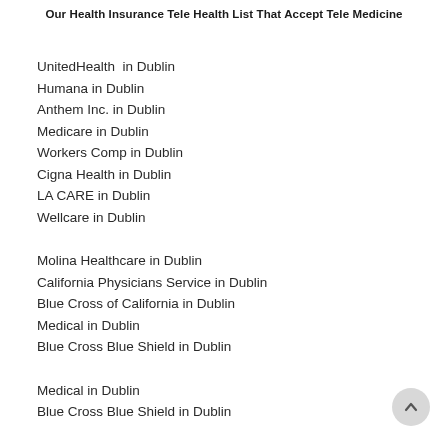Our Health Insurance Tele Health List That Accept Tele Medicine
UnitedHealth  in Dublin
Humana in Dublin
Anthem Inc. in Dublin
Medicare in Dublin
Workers Comp in Dublin
Cigna Health in Dublin
LA CARE in Dublin
Wellcare in Dublin
Molina Healthcare in Dublin
California Physicians Service in Dublin
Blue Cross of California in Dublin
Medical in Dublin
Blue Cross Blue Shield in Dublin
Medical in Dublin
Blue Cross Blue Shield in Dublin